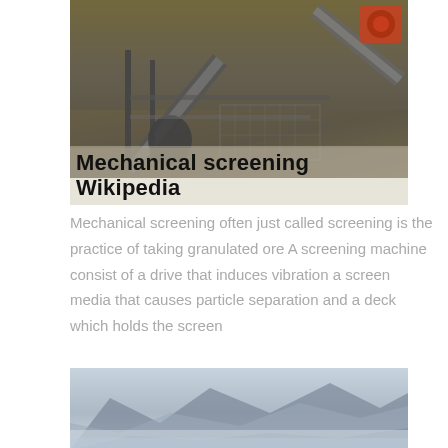[Figure (photo): Industrial mechanical screening facility with conveyor belts, machinery, and processing equipment at a mining or quarry site]
Mechanical screening Wikipedia
Mechanical screening often just called screening is the practice of taking granulated ore A screening machine consist of a drive that induces vibration a screen media that causes particle separation and a deck which holds the screen
[Figure (photo): Misty mountain landscape with hills and haze in the background]